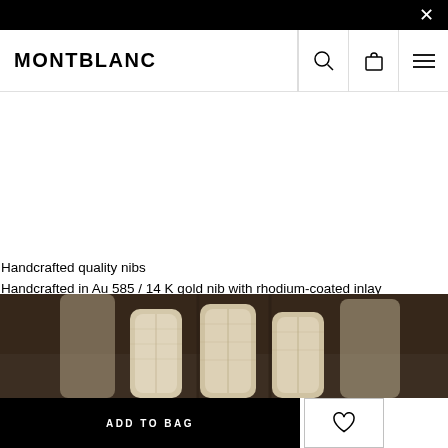×
[Figure (logo): MONTBLANC logo with search, bag, and menu icons in navigation bar]
Handcrafted quality nibs
Handcrafted in Au 585 / 14 K gold nib with rhodium-coated inlay
[Figure (photo): Close-up photo of Montblanc fountain pen nibs in light gold/metallic color against a dark brown background]
ADD TO BAG